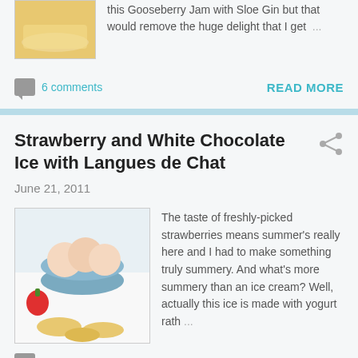[Figure (photo): Partially visible food image showing what appears to be toast or pastry on a plate]
this Gooseberry Jam with Sloe Gin but that would remove the huge delight that I get ...
6 comments
READ MORE
Strawberry and White Chocolate Ice with Langues de Chat
June 21, 2011
[Figure (photo): Bowl of ice cream scoops with strawberries and round cookies/langues de chat biscuits on a white surface]
The taste of freshly-picked strawberries means summer's really here and I had to make something truly summery. And what's more summery than an ice cream? Well, actually this ice is made with yogurt rath ...
7 comments
READ MORE